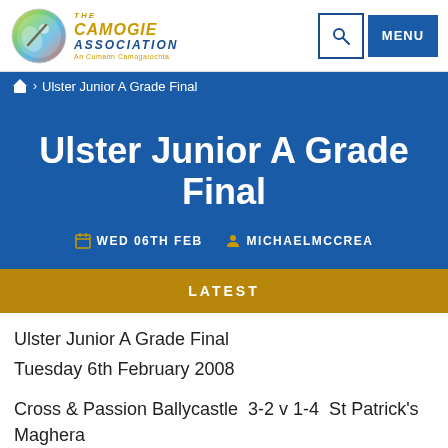THE CAMOGIE ASSOCIATION An Cumann Camógaíochta
Ulster Junior A Grade Final
Ulster Junior A Grade Final
WED 06TH FEB   MICHAELMCCREA
LATEST
Ulster Junior A Grade Final
Tuesday 6th February 2008

Cross & Passion Ballycastle  3-2 v 1-4  St Patrick's Maghera